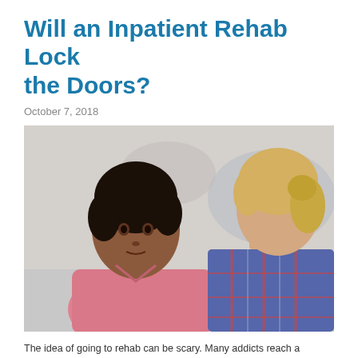Will an Inpatient Rehab Lock the Doors?
October 7, 2018
[Figure (photo): Two women sitting together; a Black woman in a pink shirt looks compassionately at a blonde woman in a plaid shirt who has her hand on her face, appearing distressed. The Black woman has her hand on the blonde woman's shoulder.]
The idea of going to rehab can be scary. Many addicts reach a